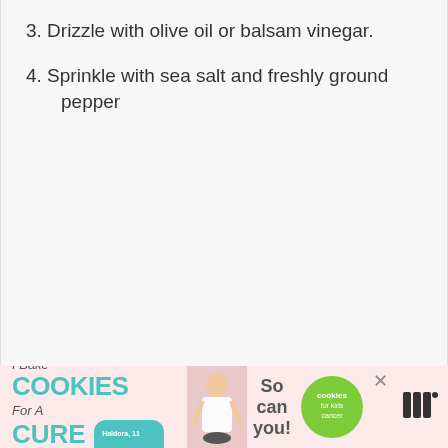3. Drizzle with olive oil or balsam vinegar.
4. Sprinkle with sea salt and freshly ground pepper
[Figure (other): Advertisement banner for 'I Bake Cookies For A Cure' campaign featuring a child cancer survivor named Haldora, age 11, with a green circle logo for cookies for kids cancer, close button, and logo mark.]